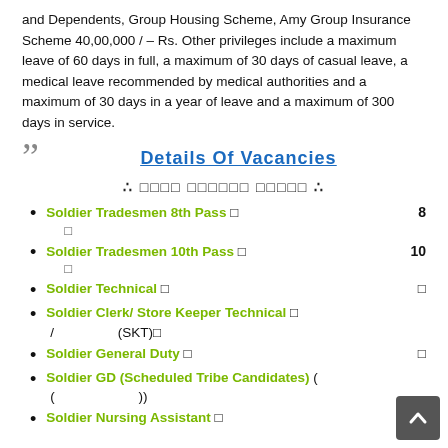and Dependents, Group Housing Scheme, Amy Group Insurance Scheme 40,00,000 / – Rs. Other privileges include a maximum leave of 60 days in full, a maximum of 30 days of casual leave, a medical leave recommended by medical authorities and a maximum of 30 days in a year of leave and a maximum of 300 days in service.
Details Of Vacancies
∴ □□□□ □□□□□□ □□□□□ ∴
Soldier Tradesmen 8th Pass □  8
□
Soldier Tradesmen 10th Pass □  10
□
Soldier Technical □  □
Soldier Clerk/ Store Keeper Technical □
/ (SKT)□
Soldier General Duty □  □
Soldier GD (Scheduled Tribe Candidates) (
(	))
Soldier Nursing Assistant □